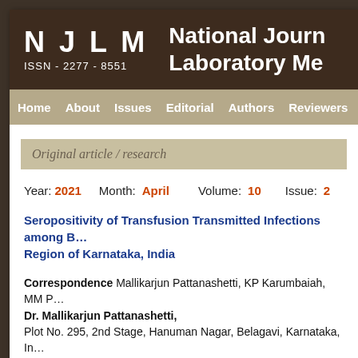NJLM ISSN - 2277 - 8551 | National Journal of Laboratory Medicine
Home  About  Issues  Editorial  Authors  Reviewers  S…
Original article / research
Year: 2021   Month: April   Volume: 10   Issue: 2
Seropositivity of Transfusion Transmitted Infections among B… Region of Karnataka, India
Correspondence Mallikarjun Pattanashetti, KP Karumbaiah, MM P… Dr. Mallikarjun Pattanashetti, Plot No. 295, 2nd Stage, Hanuman Nagar, Belagavi, Karnataka, In…